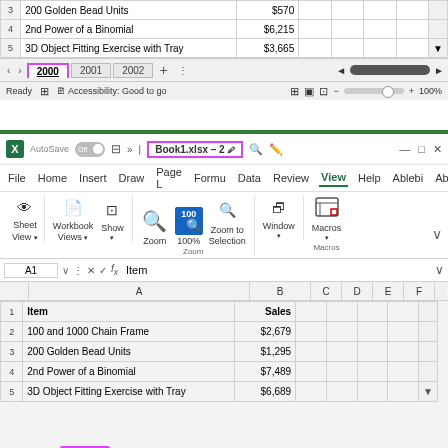[Figure (screenshot): Top portion of an Excel spreadsheet showing rows 3-5 with items (200 Golden Bead Units $570, 2nd Power of a Binomial $6,215, 3D Object Fitting Exercise with Tray $3,665), sheet tabs (2000 active, 2001, 2002), and status bar.]
[Figure (screenshot): Second Excel window showing View ribbon tab with Sheet View, Workbook Views, Show, Zoom, Window, and Macros groups. Formula bar shows A1 = Item. Spreadsheet shows rows 1-5: Row 1 headers (Item, Sales), Row 2 (100 and 1000 Chain Frame, $2,679), Row 3 (200 Golden Bead Units, $1,295), Row 4 (2nd Power of a Binomial, $7,489), Row 5 (3D Object Fitting Exercise with Tray, $6,689).]